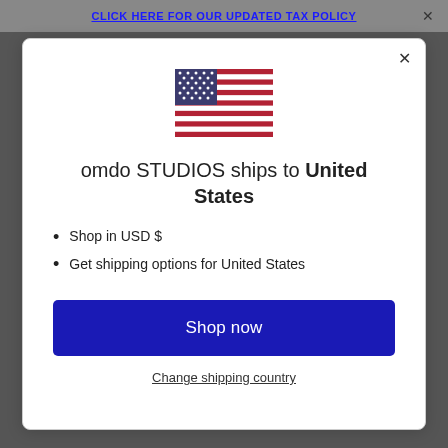CLICK HERE FOR OUR UPDATED TAX POLICY
[Figure (illustration): US flag icon centered in modal]
omdo STUDIOS ships to United States
Shop in USD $
Get shipping options for United States
Shop now
Change shipping country